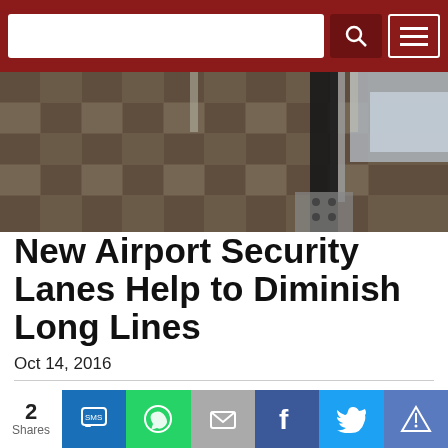[Figure (photo): Airport security lane floor and equipment, overhead view showing carpet tiles and metal security conveyor belt frame]
New Airport Security Lanes Help to Diminish Long Lines
Oct 14, 2016
Soon, travelers looking to go through airport security in Los Angeles, Dallas, Miami and Chicago will be able to slip through the process a little faster.
[Figure (infographic): Social share bar with share count of 2 Shares, and buttons for SMS, WhatsApp, Email, Facebook, Twitter, and more]